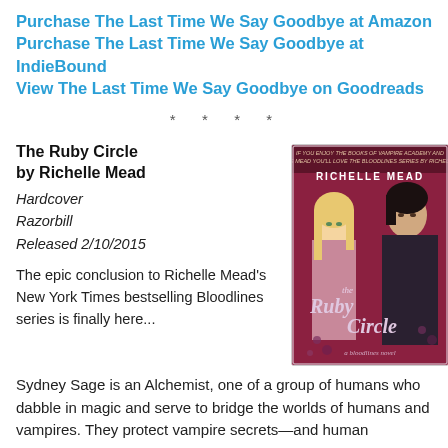Purchase The Last Time We Say Goodbye at Amazon
Purchase The Last Time We Say Goodbye at IndieBound
View The Last Time We Say Goodbye on Goodreads
* * * *
The Ruby Circle
by Richelle Mead
Hardcover
Razorbill
Released 2/10/2015
[Figure (photo): Book cover of The Ruby Circle by Richelle Mead, showing a blonde woman and dark-haired man facing each other against a red/pink background with ornate script title text]
The epic conclusion to Richelle Mead's New York Times bestselling Bloodlines series is finally here...
Sydney Sage is an Alchemist, one of a group of humans who dabble in magic and serve to bridge the worlds of humans and vampires. They protect vampire secrets—and human